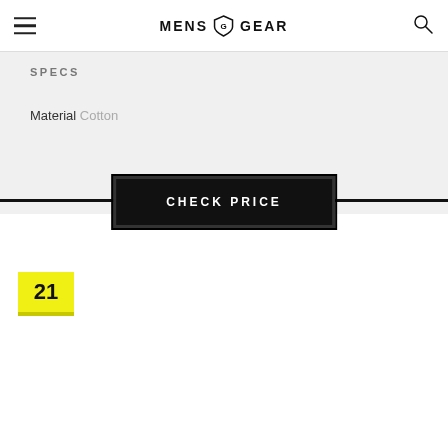MENS GEAR
SPECS
Material Cotton
CHECK PRICE
21